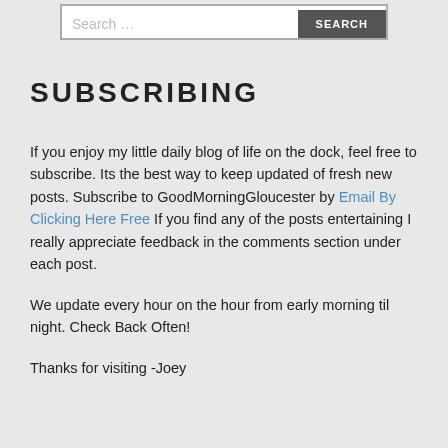[Figure (other): Search bar with text input showing 'Search ...' placeholder and a dark 'SEARCH' button on the right]
SUBSCRIBING
If you enjoy my little daily blog of life on the dock, feel free to subscribe. Its the best way to keep updated of fresh new posts. Subscribe to GoodMorningGloucester by Email By Clicking Here Free If you find any of the posts entertaining I really appreciate feedback in the comments section under each post.
We update every hour on the hour from early morning til night. Check Back Often!
Thanks for visiting -Joey